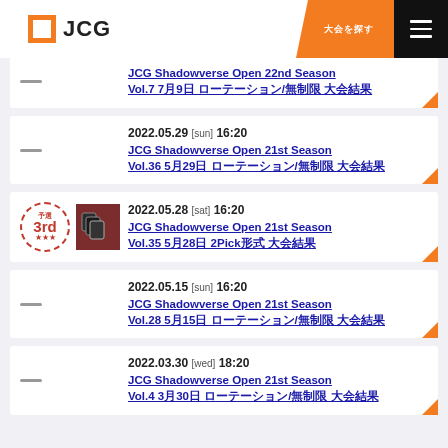JCG
JCG Shadowverse Open 22nd Season Vol.7 7月9日 ローテーション/無制限 大会結果
2022.05.29 [sun] 16:20 JCG Shadowverse Open 21st Season Vol.36 5月29日 ローテーション/無制限 大会結果
2022.05.28 [sat] 16:20 JCG Shadowverse Open 21st Season Vol.35 5月28日 2Pick形式 大会結果
2022.05.15 [sun] 16:20 JCG Shadowverse Open 21st Season Vol.28 5月15日 ローテーション/無制限 大会結果
2022.03.30 [wed] 18:20 JCG Shadowverse Open 21st Season Vol.4 3月30日 ローテーション/無制限 大会結果